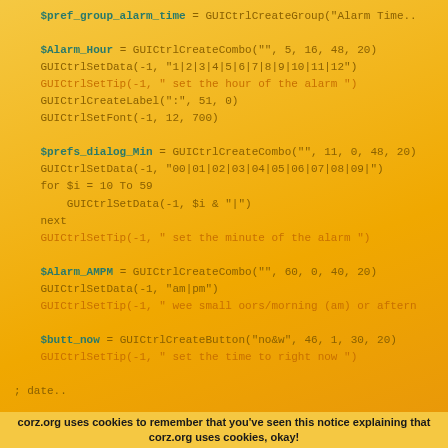Code snippet showing AutoIt GUI creation functions for alarm time/date controls
corz.org uses cookies to remember that you've seen this notice explaining that corz.org uses cookies, okay!